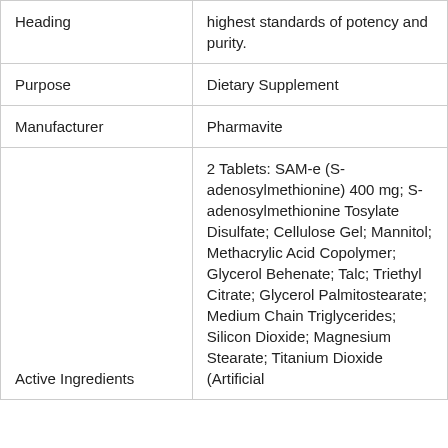| Field | Value |
| --- | --- |
| Heading | highest standards of potency and purity. |
| Purpose | Dietary Supplement |
| Manufacturer | Pharmavite |
| Active Ingredients | 2 Tablets: SAM-e (S-adenosylmethionine) 400 mg; S-adenosylmethionine Tosylate Disulfate; Cellulose Gel; Mannitol; Methacrylic Acid Copolymer; Glycerol Behenate; Talc; Triethyl Citrate; Glycerol Palmitostearate; Medium Chain Triglycerides; Silicon Dioxide; Magnesium Stearate; Titanium Dioxide (Artificial... |